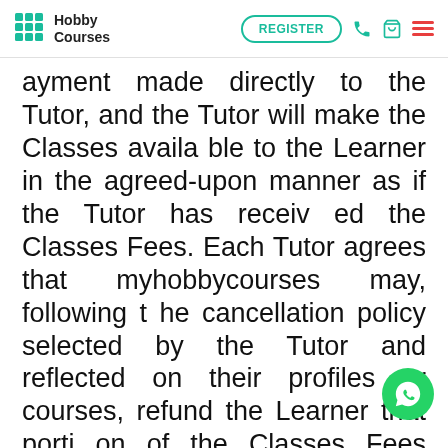HobbyCourses — REGISTER
ayment made directly to the Tutor, and the Tutor will make the Classes available to the Learner in the agreed-upon manner as if the Tutor has received the Classes Fees. Each Tutor agrees that myhobbycourses may, following the cancellation policy selected by the Tutor and reflected on their profiles or courses, refund the Learner that portion of the Classes Fees specified in the applicable cancellation policy. Each Tutor understands that myhobbycourses accepts payments from Learners as the Tutor's limited payment collection agent and that myhobbycourses' oblig